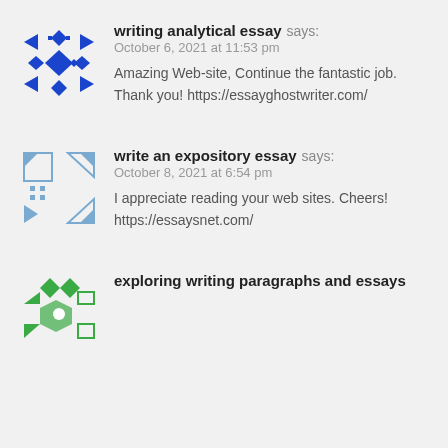[Figure (logo): Blue decorative avatar icon with geometric arrow/diamond pattern]
writing analytical essay says:
October 6, 2021 at 11:53 pm
Amazing Web-site, Continue the fantastic job. Thank you! https://essayghostwriter.com/
[Figure (logo): Light blue/grey decorative avatar icon with angular arrow pattern]
write an expository essay says:
October 8, 2021 at 6:54 pm
I appreciate reading your web sites. Cheers! https://essaysnet.com/
[Figure (logo): Green decorative avatar icon with geometric arrow pattern]
exploring writing paragraphs and essays says: